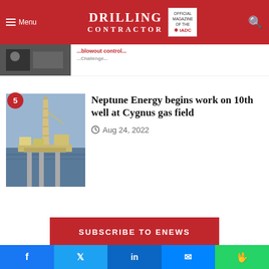Menu | DRILLING CONTRACTOR | Official Magazine of the IADC
[Figure (photo): Partially visible article with drilling image at top]
Neptune Energy begins work on 10th well at Cygnus gas field
Aug 24, 2022
[Figure (photo): Offshore drilling rig at Cygnus gas field - jack-up rig in water]
SUBSCRIBE TO ENEWS
QUICK LINKS
About Drilling Contractor
Media Kit
Facebook | Twitter | LinkedIn | Messenger | WhatsApp